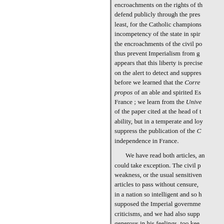encroachments on the rights of the Church, to defend publicly through the press, at least, for the Catholic champions the incompetency of the state in spiritual matters, the encroachments of the civil power, and thus prevent Imperialism from going too far. It appears that this liberty is precisely what the government is on the alert to detect and suppress ; for even before we learned that the Correspondant, à propos of an able and spirited Essay on religious France ; we learn from the Univers and the editor of the paper cited at the head of this article, with ability, but in a temperate and loyal spirit, moved to suppress the publication of the Correspondant's independence in France.

We have read both articles, and nothing in them could take exception. The civil power attributed it to weakness, or the usual sensitiveness of power, to let articles to pass without censure, which showed that in a nation so intelligent and so highly educated, supposed the Imperial government too strong for mere criticisms, and we had also supposed the Emperor too generous in his feelings, too keen